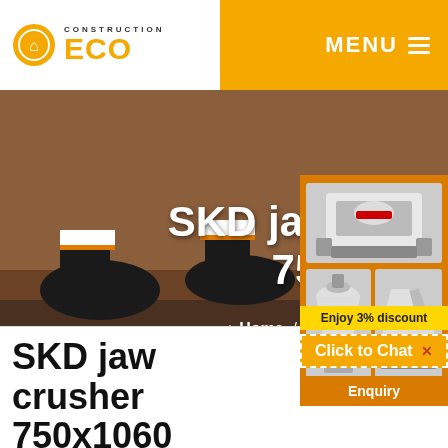[Figure (logo): Construction ECO logo with orange icon and text]
MENU ≡
[Figure (photo): Background photo of construction worker boots on a surface]
SKD jaw crusher pe 750x1060
Home / Product / SKD jaw crusher pe 750x1060
[Figure (photo): Orange sidebar panel with images of jaw crusher, mobile crusher, and cone crusher machines]
Enjoy 3% discount
Click to Chat
Enquiry
SKD jaw crusher 750x1060